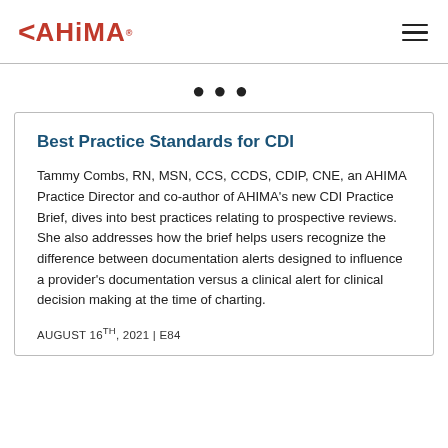AHIMA
Best Practice Standards for CDI
Tammy Combs, RN, MSN, CCS, CCDS, CDIP, CNE, an AHIMA Practice Director and co-author of AHIMA’s new CDI Practice Brief, dives into best practices relating to prospective reviews. She also addresses how the brief helps users recognize the difference between documentation alerts designed to influence a provider’s documentation versus a clinical alert for clinical decision making at the time of charting.
AUGUST 16TH, 2021 | E84